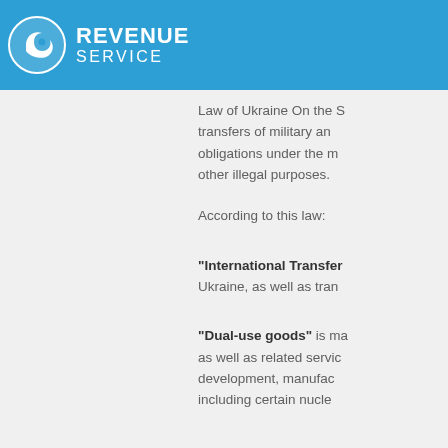REVENUE SERVICE
Law of Ukraine On the S... transfers of military an... obligations under the m... other illegal purposes.
According to this law:
"International Transfer... Ukraine, as well as tran...
"Dual-use goods" is ma... as well as related servic... development, manufac... including certain nucle...